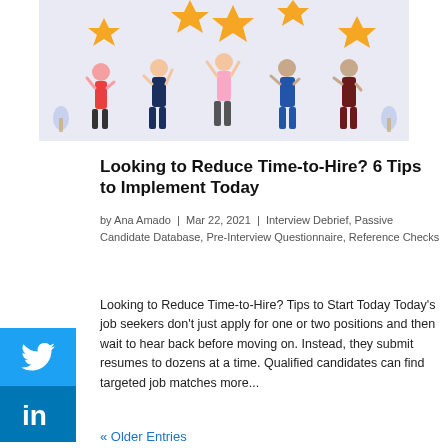[Figure (illustration): People holding gold stars — employee recognition or rating illustration with figures in business attire against a light lavender background]
Looking to Reduce Time-to-Hire? 6 Tips to Implement Today
by Ana Amado  |  Mar 22, 2021  |  Interview Debrief, Passive Candidate Database, Pre-Interview Questionnaire, Reference Checks
Looking to Reduce Time-to-Hire? Tips to Start Today Today's job seekers don't just apply for one or two positions and then wait to hear back before moving on. Instead, they submit resumes to dozens at a time. Qualified candidates can find targeted job matches more...
« Older Entries